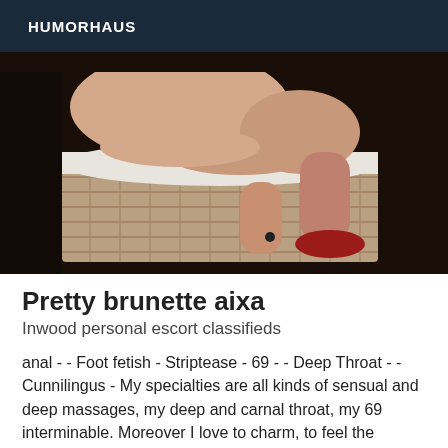HUMORHAUS
[Figure (photo): Close-up photo of a person's lower body resting on a wicker/rattan storage box with a white cushion top, dark background, wearing red shoes.]
Pretty brunette aixa
Inwood personal escort classifieds
anal - - Foot fetish - Striptease - 69 - - Deep Throat - - Cunnilingus - My specialties are all kinds of sensual and deep massages, my deep and carnal throat, my 69 interminable. Moreover I love to charm, to feel the